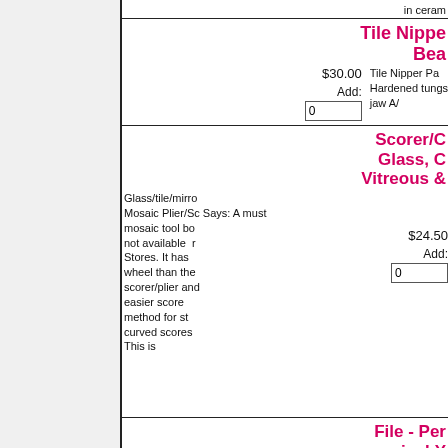in ceram
$30.00
Tile Nipper Bea
Add:
0
Tile Nipper Pa Hardened tungs jaw A/
Scorer/C Glass, C Vitreous &
$24.50
Add:
0
Glass/tile/mirro Mosaic Plier/Sc Says: A must mosaic tool bo not available Stores. It has wheel than the scorer/plier and easier score method for st curved scores This is
File - Per mosaics! Y need a g
Flat Tile File -